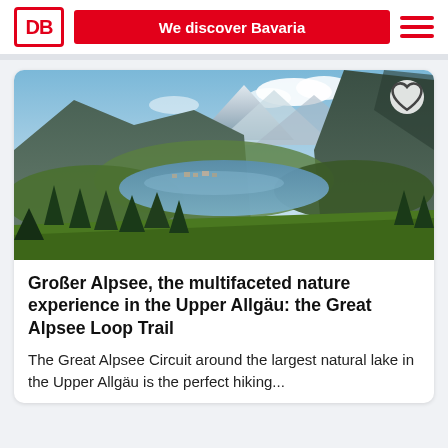DB | We discover Bavaria
[Figure (photo): Aerial panoramic view of Großer Alpsee lake in Upper Allgäu Bavaria, surrounded by green hills, forests, and Alpine mountains with snow-capped peaks under a partly cloudy sky.]
Großer Alpsee, the multifaceted nature experience in the Upper Allgäu: the Great Alpsee Loop Trail
The Great Alpsee Circuit around the largest natural lake in the Upper Allgäu is the perfect hiking...